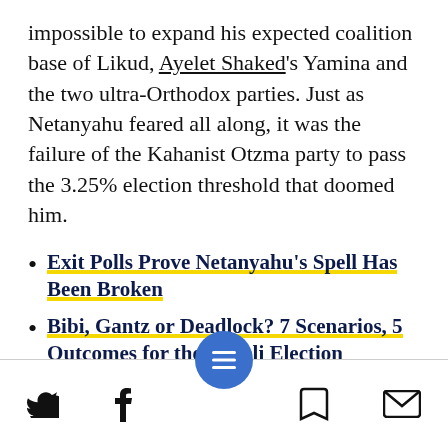impossible to expand his expected coalition base of Likud, Ayelet Shaked's Yamina and the two ultra-Orthodox parties. Just as Netanyahu feared all along, it was the failure of the Kahanist Otzma party to pass the 3.25% election threshold that doomed him.
Exit Polls Prove Netanyahu's Spell Has Been Broken
Bibi, Gantz or Deadlock? 7 Scenarios, 5 Outcomes for the Israeli Election
Every Politician Is Now a wanna-Bibi With Bibi's 'Losing' Strategy